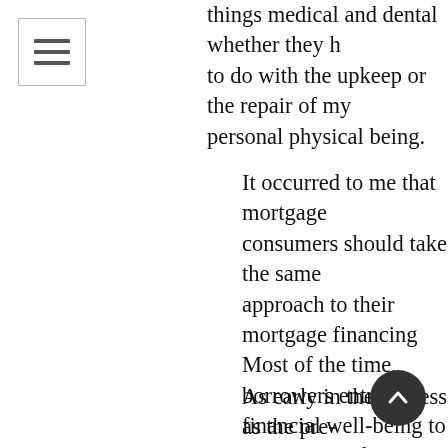[Figure (other): Menu/hamburger icon in a bordered box, top-left corner]
things medical and dental whether they have to do with the upkeep or the repair of my personal physical being.
It occurred to me that mortgage consumers should take the same approach to their mortgage financing. Most of the time, borrowers entrust their financial well-being to someone on the other side of the electronic media portal and assume that by so doing, they have set in motion a predictable process that will bring them uneventfully to mortgage approval and the closing on their new home. That does happen, but not often enough to flip on the automatic pilot switch and hope there is no turbulence on the horizon.
As early in the process as the pre-approval interview, borrowers and potential borrowers should be asking...